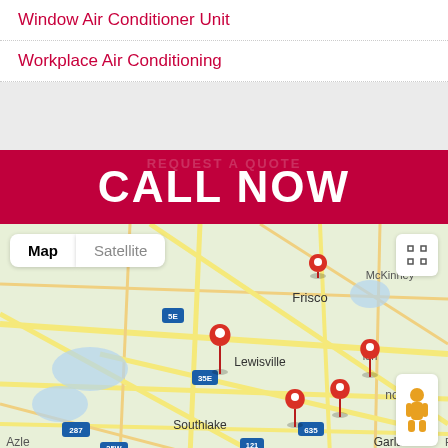Window Air Conditioner Unit
Workplace Air Conditioning
CALL NOW
[Figure (map): Google Map showing Dallas-Fort Worth area (Frisco, Lewisville, McKinney, Garland, Southlake, Azle, Rockwall) with multiple red location pin markers. Map and Satellite toggle buttons visible, plus fullscreen and Street View controls.]